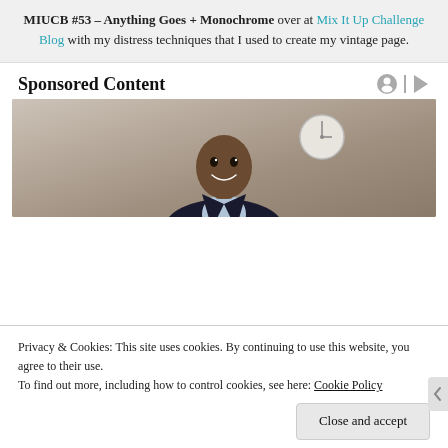MIUCB #53 – Anything Goes + Monochrome over at Mix It Up Challenge Blog with my distress techniques that I used to create my vintage page.
Sponsored Content
[Figure (photo): A smiling young Black man in a suit in an office setting with a clock on the wall in the background.]
Privacy & Cookies: This site uses cookies. By continuing to use this website, you agree to their use.
To find out more, including how to control cookies, see here: Cookie Policy
Close and accept